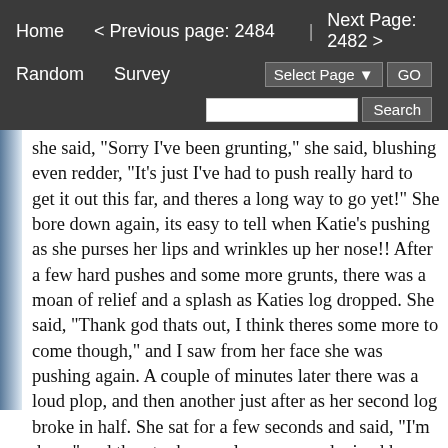Home   < Previous page: 2484  |  Next Page: 2482 >  Random   Survey   Select Page  GO  Search
she said, "Sorry I've been grunting," she said, blushing even redder, "It's just I've had to push really hard to get it out this far, and theres a long way to go yet!" She bore down again, its easy to tell when Katie's pushing as she purses her lips and wrinkles up her nose!! After a few hard pushes and some more grunts, there was a moan of relief and a splash as Katies log dropped. She said, "Thank god thats out, I think theres some more to come though," and I saw from her face she was pushing again. A couple of minutes later there was a loud plop, and then another just after as her second log broke in half. She sat for a few seconds and said, "I'm done," and then took some loo paper and wiped her front and her bottom. She then stood up, flushed and pulled her pants up. We went back into my room and put our nighties on and then watched a film, by the end Lucy was saying, "I'm bursting for a wee, its starting to come out in my knickers!!" She shot over to the loo, pulling her nightie up as she went, and dropped her pants before crashing down onto the seat. I heard a strong jet of wee starting up